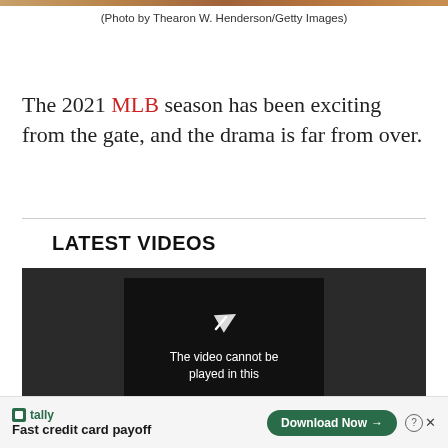[Figure (photo): Partial view of a baseball-related photo at top of page]
(Photo by Thearon W. Henderson/Getty Images)
The 2021 MLB season has been exciting from the gate, and the drama is far from over.
LATEST VIDEOS
[Figure (screenshot): Video player showing 'The video cannot be played in this' with play icon, embedded in dark container]
[Figure (other): Advertisement banner: Tally - Fast credit card payoff - Download Now button]